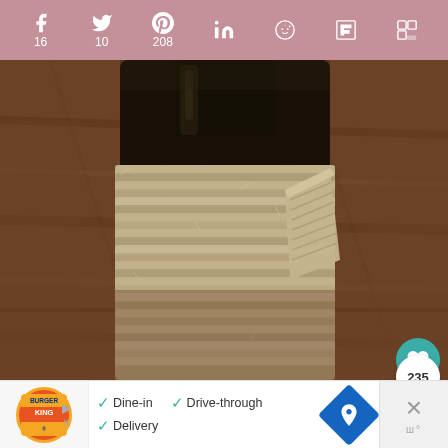[Figure (screenshot): Social media share bar with icons for Facebook (16), Twitter (10), Pinterest (208), LinkedIn, Reddit, Flipboard, and another share platform. Background is dusty rose/mauve color with white icons and counts.]
[Figure (photo): Close-up photograph of a dark glass bottle wrapped in natural jute twine/rope, sitting on a wooden surface. The bottle appears to be a craft beverage bottle. The twine is wrapped tightly around the lower half of the bottle.]
[Figure (screenshot): UI overlay buttons: a teal circular heart/favorite button, a white circle showing count 235, and a white share circle button with share icon.]
[Figure (screenshot): Advertisement bar at bottom: Burger King logo on left, checkmarks for Dine-in, Drive-through, Delivery options, a blue diamond-shaped map/directions icon, and a close/dismiss button on right with X symbol.]